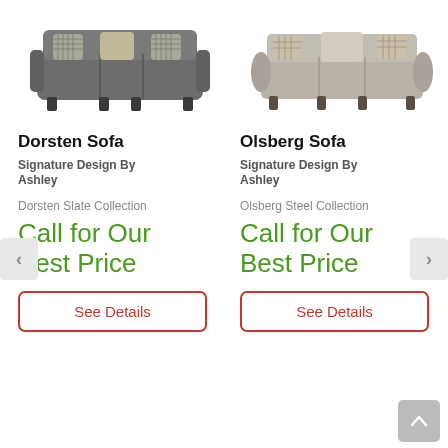[Figure (photo): Dorsten Sofa - a dark grey fabric sofa with decorative pillows]
[Figure (photo): Olsberg Sofa - a light grey/beige fabric sofa with decorative pillows]
Dorsten Sofa
Olsberg Sofa
Signature Design By Ashley
Signature Design By Ashley
Dorsten Slate Collection
Olsberg Steel Collection
Call for Our Best Price
Call for Our Best Price
See Details
See Details